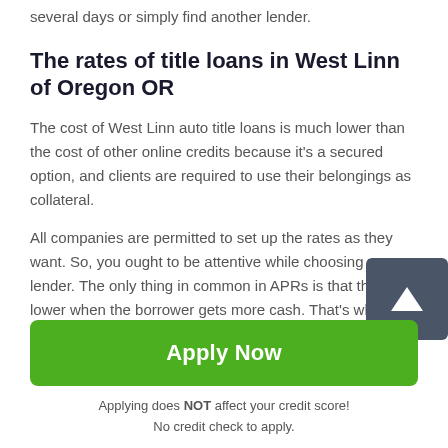several days or simply find another lender.
The rates of title loans in West Linn of Oregon OR
The cost of West Linn auto title loans is much lower than the cost of other online credits because it's a secured option, and clients are required to use their belongings as collateral.
All companies are permitted to set up the rates as they want. So, you ought to be attentive while choosing your lender. The only thing in common in APRs is that they lower when the borrower gets more cash. That's why if you don't want to overpay, you need to get bigger sums.
[Figure (other): Dark grey scroll-to-top button with white upward arrow]
Apply Now
Applying does NOT affect your credit score!
No credit check to apply.